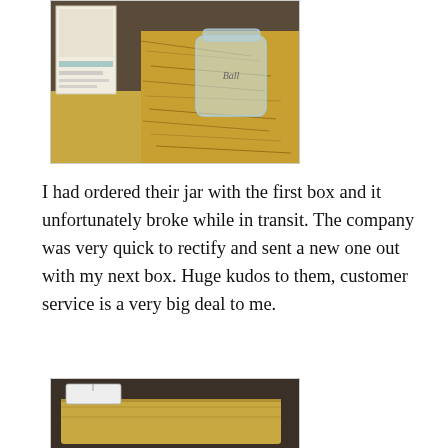[Figure (photo): A gift box containing a mason jar with a script label, nestled in shredded paper packing material, with a booklet or card visible to the left side.]
I had ordered their jar with the first box and it unfortunately broke while in transit. The company was very quick to rectify and sent a new one out with my next box. Huge kudos to them, customer service is a very big deal to me.
[Figure (photo): A partial view of what appears to be a cloth or fabric item inside a box or package, photographed from above.]